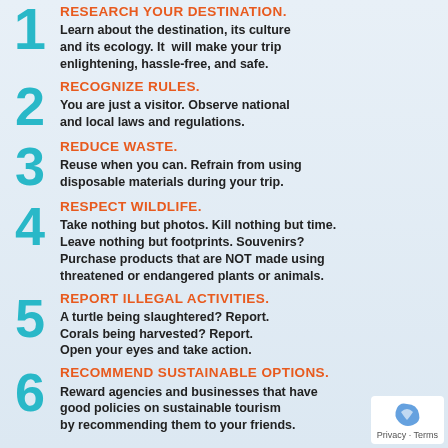1. RESEARCH YOUR DESTINATION. Learn about the destination, its culture and its ecology. It will make your trip enlightening, hassle-free, and safe.
2. RECOGNIZE RULES. You are just a visitor. Observe national and local laws and regulations.
3. REDUCE WASTE. Reuse when you can. Refrain from using disposable materials during your trip.
4. RESPECT WILDLIFE. Take nothing but photos. Kill nothing but time. Leave nothing but footprints. Souvenirs? Purchase products that are NOT made using threatened or endangered plants or animals.
5. REPORT ILLEGAL ACTIVITIES. A turtle being slaughtered? Report. Corals being harvested? Report. Open your eyes and take action.
6. RECOMMEND SUSTAINABLE OPTIONS. Reward agencies and businesses that have good policies on sustainable tourism by recommending them to your friends.